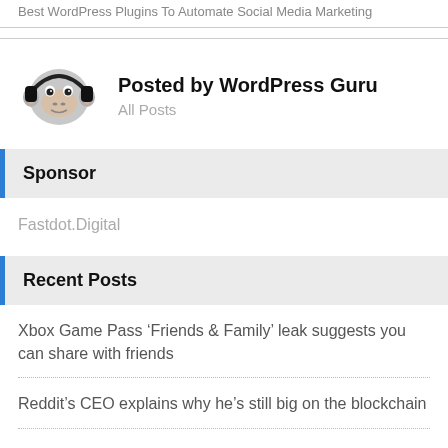Best WordPress Plugins To Automate Social Media Marketing
[Figure (photo): Black and white illustration of a chimpanzee wearing headphones, used as author avatar for WordPress Guru]
Posted by WordPress Guru
All Posts
Sponsor
Fastdot.Digital
Recent Posts
Xbox Game Pass ‘Friends & Family’ leak suggests you can share with friends
Reddit’s CEO explains why he’s still big on the blockchain